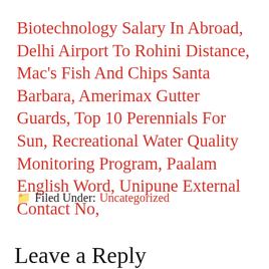Biotechnology Salary In Abroad, Delhi Airport To Rohini Distance, Mac's Fish And Chips Santa Barbara, Amerimax Gutter Guards, Top 10 Perennials For Sun, Recreational Water Quality Monitoring Program, Paalam English Word, Unipune External Contact No,
🗁 Filed Under: Uncategorized
Leave a Reply